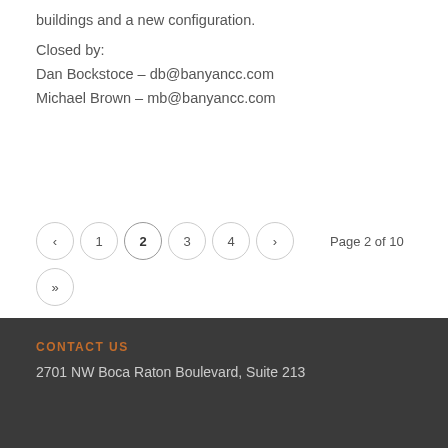buildings and a new configuration.
Closed by:
Dan Bockstoce – db@banyancc.com
Michael Brown – mb@banyancc.com
‹  1  2  3  4  ›   Page 2 of 10
»
CONTACT US
2701 NW Boca Raton Boulevard, Suite 213